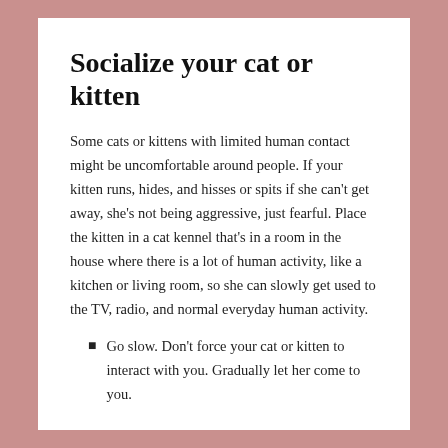Socialize your cat or kitten
Some cats or kittens with limited human contact might be uncomfortable around people. If your kitten runs, hides, and hisses or spits if she can’t get away, she’s not being aggressive, just fearful. Place the kitten in a cat kennel that’s in a room in the house where there is a lot of human activity, like a kitchen or living room, so she can slowly get used to the TV, radio, and normal everyday human activity.
Go slow. Don’t force your cat or kitten to interact with you. Gradually let her come to you.